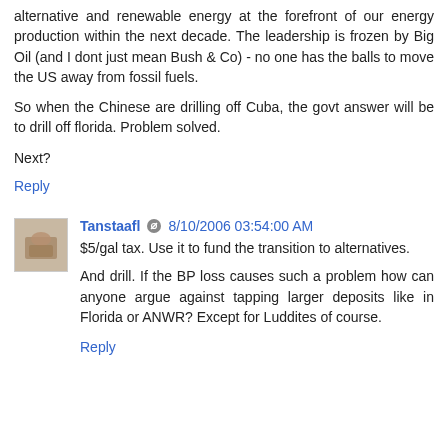alternative and renewable energy at the forefront of our energy production within the next decade. The leadership is frozen by Big Oil (and I dont just mean Bush & Co) - no one has the balls to move the US away from fossil fuels.
So when the Chinese are drilling off Cuba, the govt answer will be to drill off florida. Problem solved.
Next?
Reply
Tanstaafl 8/10/2006 03:54:00 AM
$5/gal tax. Use it to fund the transition to alternatives.
And drill. If the BP loss causes such a problem how can anyone argue against tapping larger deposits like in Florida or ANWR? Except for Luddites of course.
Reply